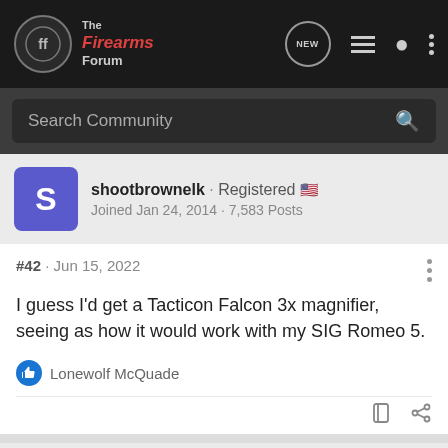The Firearms Forum
Search Community
shootbrownelk · Registered
Joined Jan 24, 2014 · 7,583 Posts
#42 · Jun 15, 2022
I guess I'd get a Tacticon Falcon 3x magnifier, seeing as how it would work with my SIG Romeo 5.
Lonewolf McQuade
Greyfox_MT · Registered